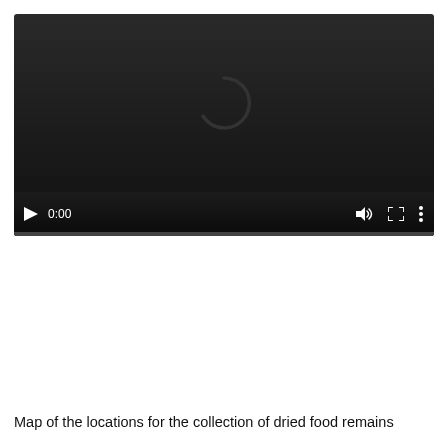[Figure (screenshot): Video player showing a loading spinner (partial circle arc) on a dark gradient background. Controls bar at bottom shows play button, time 0:00, volume icon, fullscreen icon, and more options icon. Progress bar at bottom of player.]
Map of the locations for the collection of dried food remains